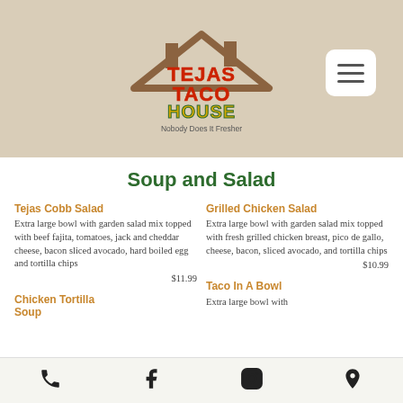[Figure (logo): Tejas Taco House logo with house shape, colorful text reading TEJAS TACO HOUSE, tagline Nobody Does It Fresher, and a hamburger menu button]
Soup and Salad
Tejas Cobb Salad
Extra large bowl with garden salad mix topped with beef fajita, tomatoes, jack and cheddar cheese, bacon sliced avocado, hard boiled egg and tortilla chips $11.99
Grilled Chicken Salad
Extra large bowl with garden salad mix topped with fresh grilled chicken breast, pico de gallo, cheese, bacon, sliced avocado, and tortilla chips $10.99
Chicken Tortilla Soup
Taco In A Bowl
Extra large bowl with
Phone | Facebook | Instagram | Location